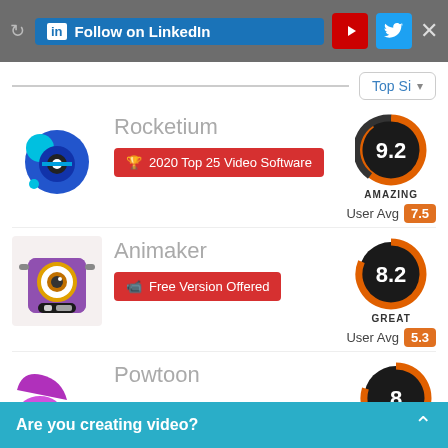Follow on LinkedIn
Top Si
Rocketium
2020 Top 25 Video Software
[Figure (donut-chart): Score circle showing 9.2 AMAZING]
User Avg 7.5
Animaker
Free Version Offered
[Figure (donut-chart): Score circle showing 8.2 GREAT]
User Avg 5.3
Powtoon
[Figure (donut-chart): Score circle showing 8]
Are you creating video?